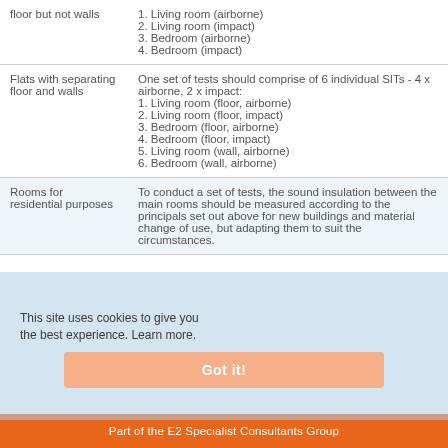| Building type | Test requirements |
| --- | --- |
| floor but not walls | 1. Living room (airborne)
2. Living room (impact)
3. Bedroom (airborne)
4. Bedroom (impact) |
| Flats with separating floor and walls | One set of tests should comprise of 6 individual SITs - 4 x airborne, 2 x impact:
1. Living room (floor, airborne)
2. Living room (floor, impact)
3. Bedroom (floor, airborne)
4. Bedroom (floor, impact)
5. Living room (wall, airborne)
6. Bedroom (wall, airborne) |
| Rooms for residential purposes | To conduct a set of tests, the sound insulation between the main rooms should be measured according to the principals set out above for new buildings and material change of use, but adapting them to suit the circumstances. |
This site uses cookies to give you the best experience. Learn more.
Got it!
Part of the E2 Specialist Consultants Group